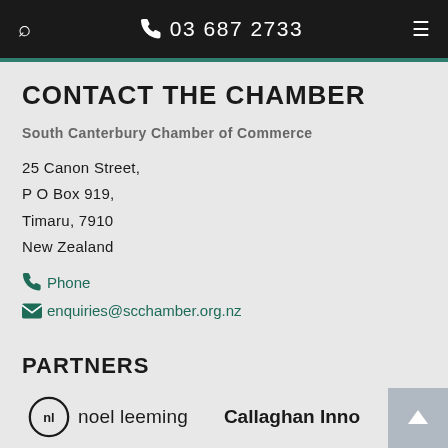03 687 2733
CONTACT THE CHAMBER
South Canterbury Chamber of Commerce
25 Canon Street,
P O Box 919,
Timaru, 7910
New Zealand
Phone
enquiries@scchamber.org.nz
PARTNERS
[Figure (logo): Noel Leeming logo with stylized NL circle and text 'noel leeming']
[Figure (logo): Callaghan Innovation logo text 'Callaghan Inno...']